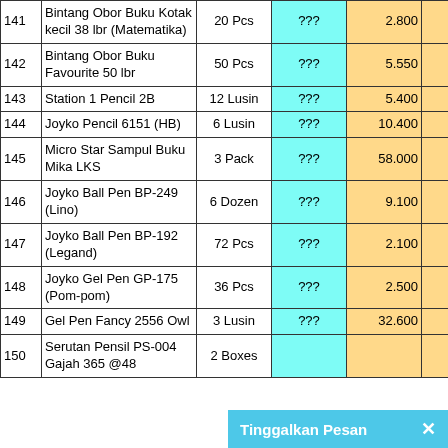| No | Nama Barang | Qty | ??? | Harga | Total |
| --- | --- | --- | --- | --- | --- |
| 141 | Bintang Obor Buku Kotak kecil 38 lbr (Matematika) | 20 Pcs | ??? | 2.800 | 56.000 |
| 142 | Bintang Obor Buku Favourite 50 lbr | 50 Pcs | ??? | 5.550 | 277.500 |
| 143 | Station 1 Pencil 2B | 12 Lusin | ??? | 5.400 | 64.800 |
| 144 | Joyko Pencil 6151 (HB) | 6 Lusin | ??? | 10.400 | 62.400 |
| 145 | Micro Star Sampul Buku Mika LKS | 3 Pack | ??? | 58.000 | 174.000 |
| 146 | Joyko Ball Pen BP-249 (Lino) | 6 Dozen | ??? | 9.100 | 54.600 |
| 147 | Joyko Ball Pen BP-192 (Legand) | 72 Pcs | ??? | 2.100 | 151.200 |
| 148 | Joyko Gel Pen GP-175 (Pom-pom) | 36 Pcs | ??? | 2.500 | 90.000 |
| 149 | Gel Pen Fancy 2556 Owl | 3 Lusin | ??? | 32.600 | 97.800 |
| 150 | Serutan Pensil PS-004 Gajah 365 @48 | 2 Boxes | ??? | ... | ... |